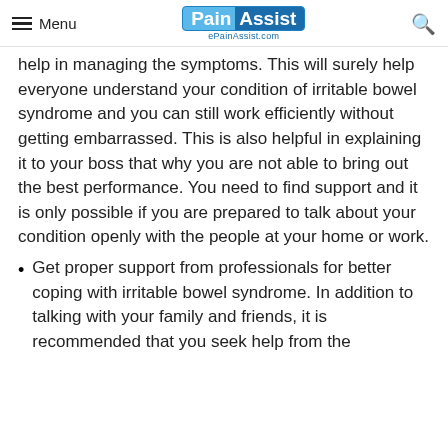Menu | PainAssist ePainAssist.com | Search
help in managing the symptoms. This will surely help everyone understand your condition of irritable bowel syndrome and you can still work efficiently without getting embarrassed. This is also helpful in explaining it to your boss that why you are not able to bring out the best performance. You need to find support and it is only possible if you are prepared to talk about your condition openly with the people at your home or work.
Get proper support from professionals for better coping with irritable bowel syndrome. In addition to talking with your family and friends, it is recommended that you seek help from the